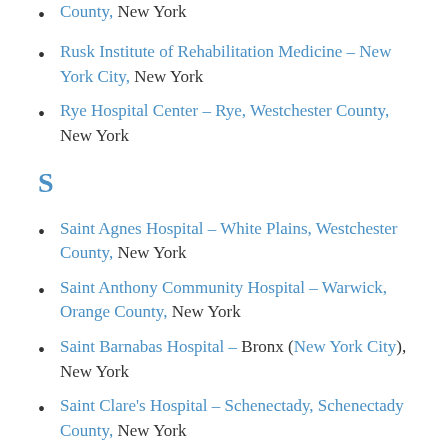County, New York (partial, top cut off)
Rusk Institute of Rehabilitation Medicine – New York City, New York
Rye Hospital Center – Rye, Westchester County, New York
S
Saint Agnes Hospital – White Plains, Westchester County, New York
Saint Anthony Community Hospital – Warwick, Orange County, New York
Saint Barnabas Hospital – Bronx (New York City), New York
Saint Clare's Hospital – Schenectady, Schenectady County, New York
Saint Charles Hospital and Rehabilitation (partial, bottom cut off)